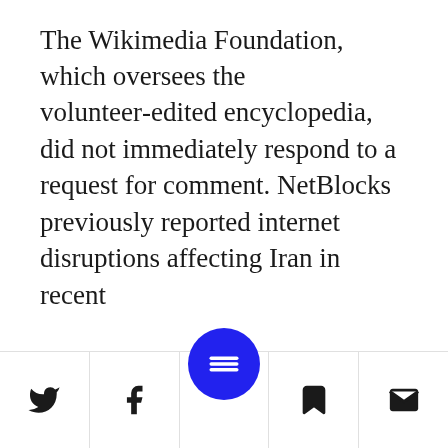The Wikimedia Foundation, which oversees the volunteer-edited encyclopedia, did not immediately respond to a request for comment. NetBlocks previously reported internet disruptions affecting Iran in recent days and...
[Figure (screenshot): Mobile app bottom toolbar with Twitter, Facebook, menu FAB button, bookmark, and email icons]